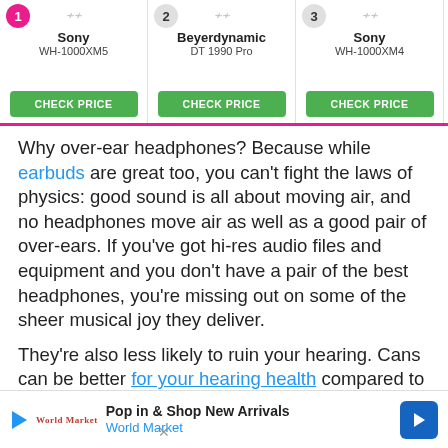[Figure (screenshot): Product comparison bar showing 4 headphone products with rankings, brand names, model numbers, and CHECK PRICE buttons: 1. Sony WH-1000XM5, 2. Beyerdynamic DT 1990 Pro, 3. Sony WH-1000XM4, 4. Sennheiser HD800 (partially visible). A navigation arrow circle is visible on the right.]
Why over-ear headphones? Because while earbuds are great too, you can't fight the laws of physics: good sound is all about moving air, and no headphones move air as well as a good pair of over-ears. If you've got hi-res audio files and equipment and you don't have a pair of the best headphones, you're missing out on some of the sheer musical joy they deliver.
They're also less likely to ruin your hearing. Cans can be better for your hearing health compared to in-ear headphones. Because they sit on (rather than in) your ears, they're a better distance from your sensitive eardrums, and as their padding blocks out a lot of
[Figure (screenshot): Advertisement banner for World Market: 'Pop in & Shop New Arrivals / World Market' with a play icon, World Market logo, and a blue navigation arrow button.]